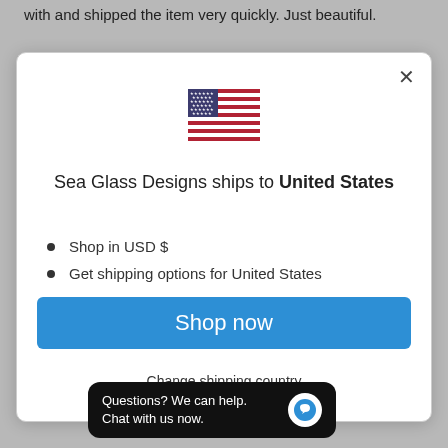with and shipped the item very quickly. Just beautiful.
[Figure (screenshot): Modal dialog showing US flag, shipping destination info for Sea Glass Designs, Shop now button, and Change shipping country link]
Sea Glass Designs ships to United States
Shop in USD $
Get shipping options for United States
Shop now
Change shipping country
Questions? We can help. Chat with us now.